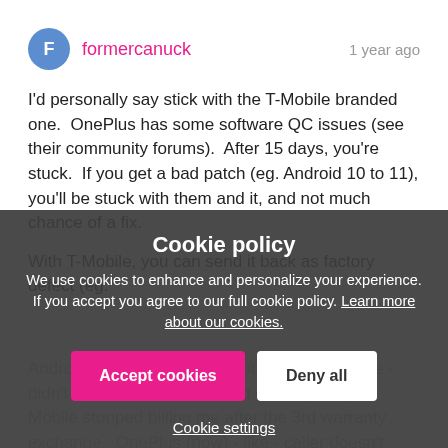formercanuck | 1 year ago
I'd personally say stick with the T-Mobile branded one.  OnePlus has some software QC issues (see their community forums).  After 15 days, you're stuck.  If you get a bad patch (eg. Android 10 to 11), you'll be stuck with them and it, and not much chance of a fix.
With T-Mobile, you can send it back as factory defect (eg. Android 10 to 11 broke bluetooth on my vehicle - didn't get the update until end of Jan (now). T-Mobile stopped billing me after the 3rd warranty exchange. OnePlus (now) - like - caller doesn't hear anything still pairs my vehicle - why did all 3 work on Android 10 then ?!
Cookie policy
We use cookies to enhance and personalize your experience. If you accept you agree to our full cookie policy. Learn more about our cookies.
Accept cookies | Deny all
Cookie settings